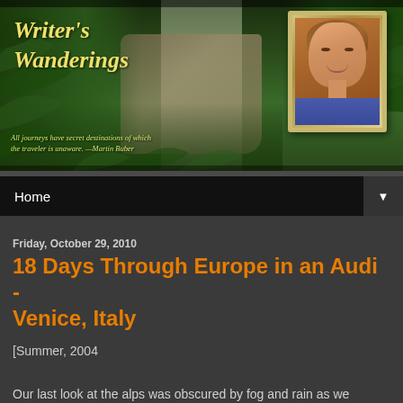[Figure (illustration): Writer's Wanderings blog header banner with forest/waterfall background, italic yellow script title 'Writer's Wanderings', italic green quote 'All journeys have secret destinations of which the traveler is unaware. —Martin Buber', and a gold-framed portrait photo of a smiling woman]
Home
Friday, October 29, 2010
18 Days Through Europe in an Audi - Venice, Italy
[Summer, 2004
Our last look at the alps was obscured by fog and rain as we